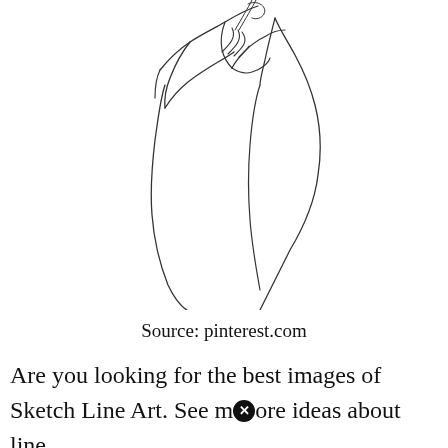[Figure (illustration): Minimalist line art sketch of a person (figure from shoulders up) holding a small object near their face/chin, drawn with thin continuous lines on white background.]
Source: pinterest.com
Are you looking for the best images of Sketch Line Art. See more ideas about line